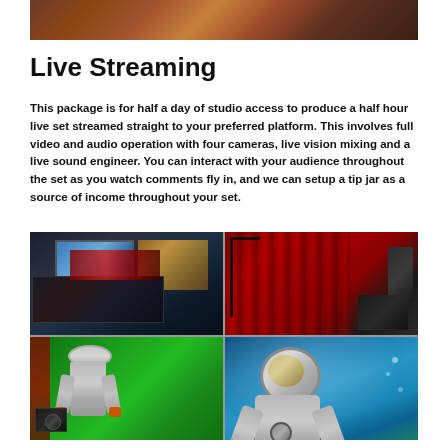[Figure (photo): Top portion of a photography/film studio with equipment visible]
Live Streaming
This package is for half a day of studio access to produce a half hour live set streamed straight to your preferred platform. This involves full video and audio operation with four cameras, live vision mixing and a live sound engineer. You can interact with your audience throughout the set as you watch comments fly in, and we can setup a tip jar as a source of income throughout your set.
[Figure (photo): Four-panel photo grid showing: top-left - video production monitors and equipment in a dark studio; top-right - red curtain background studio with lighting and keyboard equipment; bottom-left - green screen setup with person in silver astronaut suit; bottom-right - person in silver diving/astronaut suit underwater in blue water]